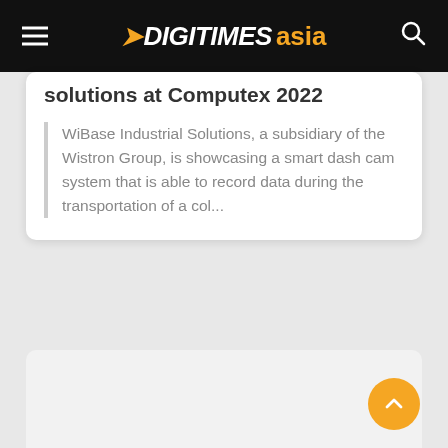DIGITIMES asia
solutions at Computex 2022
WiBase Industrial Solutions, a subsidiary of the Wistron Group, is showcasing a smart dash cam system that is able to record data during the transportation of a col...